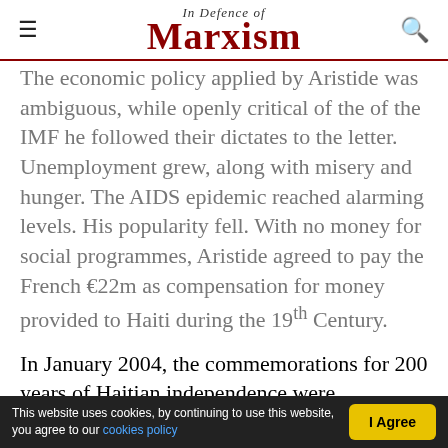In Defence of Marxism
The economic policy applied by Aristide was ambiguous, while openly critical of the of the IMF he followed their dictates to the letter. Unemployment grew, along with misery and hunger. The AIDS epidemic reached alarming levels. His popularity fell. With no money for social programmes, Aristide agreed to pay the French €22m as compensation for money provided to Haiti during the 19th Century.

In January 2004, the commemorations for 200 years of Haitian independence were transformed into food riots The Haitian bosses' organised strikes and
This website uses cookies, by continuing to use this website, you agree to our cookies policy  |  I Agree